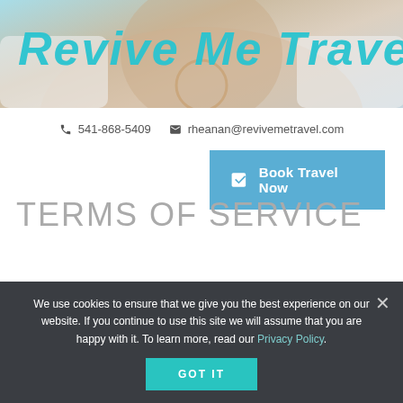[Figure (photo): Partial header image showing Revive Me Travel logo text in teal/turquoise italic font over a photo of a person wearing a beige top and necklace]
541-868-5409  rheanan@revivemetravel.com
Book Travel Now
TERMS OF SERVICE
ACCEPTANCE OF TERMS
We use cookies to ensure that we give you the best experience on our website. If you continue to use this site we will assume that you are happy with it. To learn more, read our Privacy Policy.
GOT IT